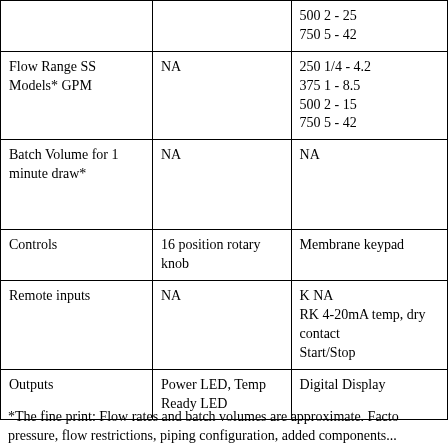|  |  | 500 2 - 25
750 5 - 42 |
| Flow Range SS Models* GPM | NA | 250 1/4 - 4.2
375 1 - 8.5
500 2 - 15
750 5 - 42 |
| Batch Volume for 1 minute draw* | NA | NA |
| Controls | 16 position rotary knob | Membrane keypad |
| Remote inputs | NA | K NA
RK 4-20mA temp, dry contact
Start/Stop |
| Outputs | Power LED, Temp Ready LED | Digital Display |
*The fine print: Flow rates and batch volumes are approximate. Facto pressure, flow restrictions, piping configuration, added components...